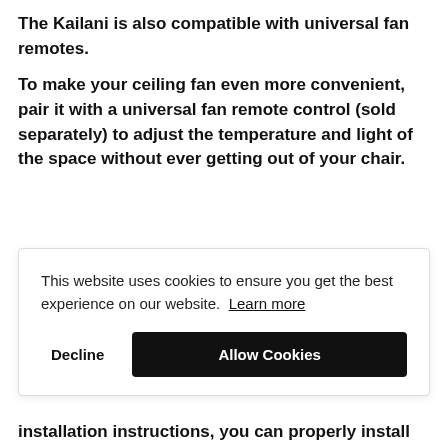The Kailani is also compatible with universal fan remotes.
To make your ceiling fan even more convenient, pair it with a universal fan remote control (sold separately) to adjust the temperature and light of the space without ever getting out of your chair.
This website uses cookies to ensure you get the best experience on our website. Learn more
Decline
Allow Cookies
installation instructions, you can properly install